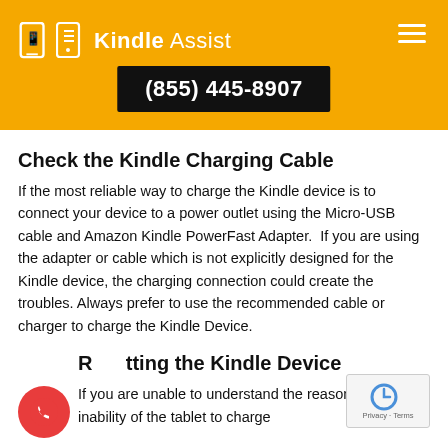Kindle Assist — (855) 445-8907
Check the Kindle Charging Cable
If the most reliable way to charge the Kindle device is to connect your device to a power outlet using the Micro-USB cable and Amazon Kindle PowerFast Adapter.  If you are using the adapter or cable which is not explicitly designed for the Kindle device, the charging connection could create the troubles. Always prefer to use the recommended cable or charger to charge the Kindle Device.
Resetting the Kindle Device
If you are unable to understand the reason behind the inability of the tablet to charge